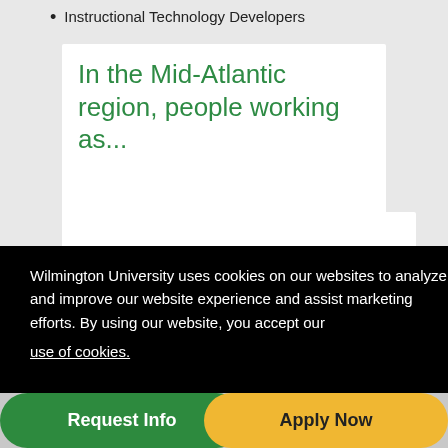Instructional Technology Developers
In the Mid-Atlantic region, people working as...
Wilmington University uses cookies on our websites to analyze and improve our website experience and assist marketing efforts. By using our website, you accept our use of cookies.
Request Info
Apply Now